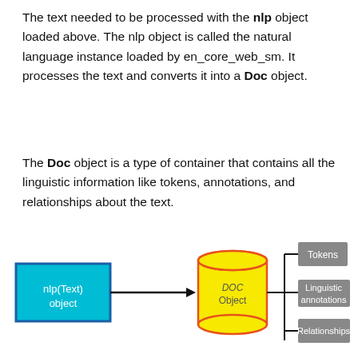The text needed to be processed with the nlp object loaded above. The nlp object is called the natural language instance loaded by en_core_web_sm. It processes the text and converts it into a Doc object.
The Doc object is a type of container that contains all the linguistic information like tokens, annotations, and relationships about the text.
[Figure (flowchart): Flowchart showing nlp(Text) object (cyan/teal box with blue border) connected by arrow to DOC Object (yellow cylinder with orange/red outline), which connects to three gray boxes: Tokens, Linguistic annotations, Relationships.]